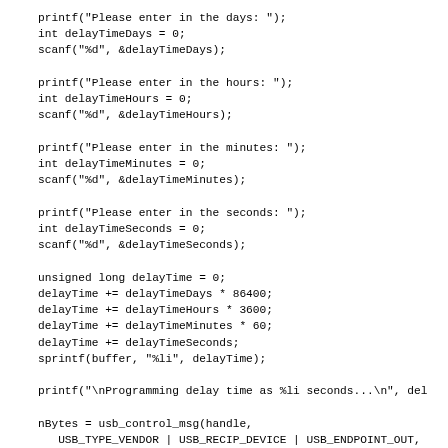printf("Please enter in the days: ");
int delayTimeDays = 0;
scanf("%d", &delayTimeDays);

printf("Please enter in the hours: ");
int delayTimeHours = 0;
scanf("%d", &delayTimeHours);

printf("Please enter in the minutes: ");
int delayTimeMinutes = 0;
scanf("%d", &delayTimeMinutes);

printf("Please enter in the seconds: ");
int delayTimeSeconds = 0;
scanf("%d", &delayTimeSeconds);

unsigned long delayTime = 0;
delayTime += delayTimeDays * 86400;
delayTime += delayTimeHours * 3600;
delayTime += delayTimeMinutes * 60;
delayTime += delayTimeSeconds;
sprintf(buffer, "%li", delayTime);

printf("\nProgramming delay time as %li seconds...\n", del

nBytes = usb_control_msg(handle,
   USB_TYPE_VENDOR | USB_RECIP_DEVICE | USB_ENDPOINT_OUT,
   USB_DELAYTIME, 0, 0, buffer, strlen(buffer)+1, 5000);

printf("Completed\n");
For programming the delay time, we ask the user for the days, hours, minutes ar